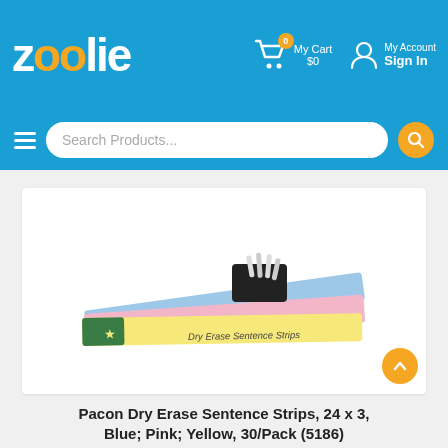zoolie — My Cart $0 | My Account Sign In
Search Products...
[Figure (photo): Product photo of Pacon Dry Erase Sentence Strips showing colorful strips (blue, pink, yellow) fanned out with a marker and eraser on top]
Pacon Dry Erase Sentence Strips, 24 x 3, Blue; Pink; Yellow, 30/Pack (5186)